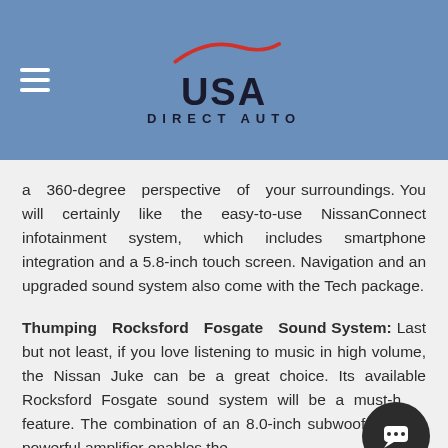USA DIRECT AUTO
a 360-degree perspective of your surroundings. You will certainly like the easy-to-use NissanConnect infotainment system, which includes smartphone integration and a 5.8-inch touch screen. Navigation and an upgraded sound system also come with the Tech package.
Thumping Rocksford Fosgate Sound System: Last but not least, if you love listening to music in high volume, the Nissan Juke can be a great choice. Its available Rockford Fosgate sound system will be a must-have feature. The combination of an 8.0-inch subwoofer and a powerful amplifier enables the